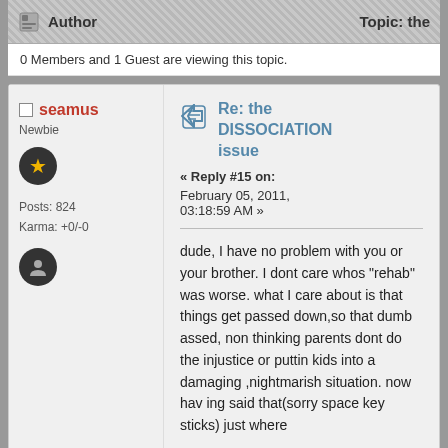Author   Topic: the
0 Members and 1 Guest are viewing this topic.
seamus
Newbie
Posts: 824
Karma: +0/-0
Re: the DISSOCIATION issue
« Reply #15 on: February 05, 2011, 03:18:59 AM »
dude, I have no problem with you or your brother. I dont care whos "rehab" was worse. what I care about is that things get passed down,so that dumb assed, non thinking parents dont do the injustice or puttin kids into a damaging ,nightmarish situation. now hav ing said that(sorry space key sticks) just where